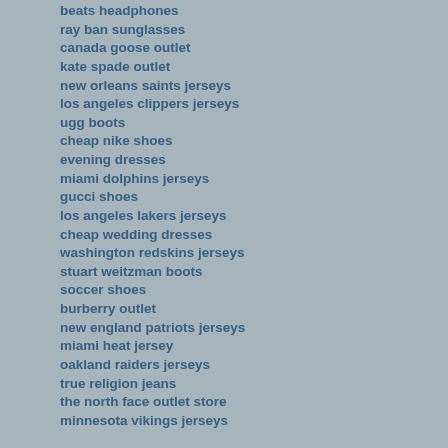beats headphones
ray ban sunglasses
canada goose outlet
kate spade outlet
new orleans saints jerseys
los angeles clippers jerseys
ugg boots
cheap nike shoes
evening dresses
miami dolphins jerseys
gucci shoes
los angeles lakers jerseys
cheap wedding dresses
washington redskins jerseys
stuart weitzman boots
soccer shoes
burberry outlet
new england patriots jerseys
miami heat jersey
oakland raiders jerseys
true religion jeans
the north face outlet store
minnesota vikings jerseys